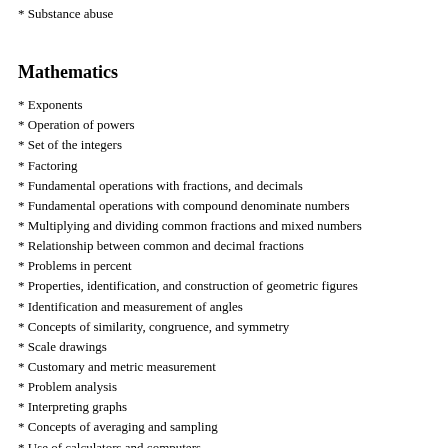* Substance abuse
Mathematics
* Exponents
* Operation of powers
* Set of the integers
* Factoring
* Fundamental operations with fractions, and decimals
* Fundamental operations with compound denominate numbers
* Multiplying and dividing common fractions and mixed numbers
* Relationship between common and decimal fractions
* Problems in percent
* Properties, identification, and construction of geometric figures
* Identification and measurement of angles
* Concepts of similarity, congruence, and symmetry
* Scale drawings
* Customary and metric measurement
* Problem analysis
* Interpreting graphs
* Concepts of averaging and sampling
* Use of calculators and computers